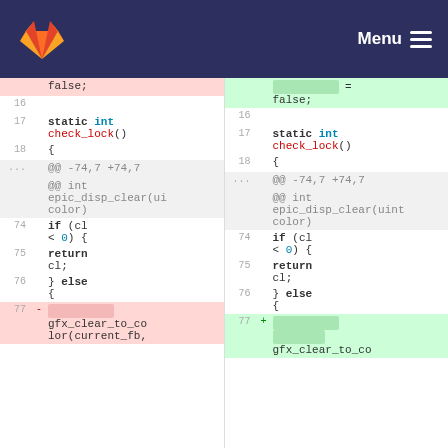GitLab Menu
[Figure (screenshot): GitLab diff view showing code changes side-by-side. Left side (old) and right side (new) show C code with line numbers. Lines 16-18 show static int check_lock() {. Lines around 74-77 show an if (cl < 0) { return cl; } else { block. Line 77 shows a deleted line with redacted content gfx_clear_to_color(current_fb, on the left and an added line with redacted content on the right.]